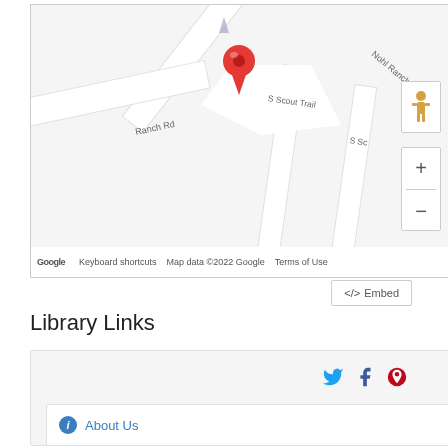[Figure (map): Google Maps screenshot showing Nohl Ranch Rd and S Scout Trail intersection with a red location pin marker. Controls include pegman (street view) icon and zoom +/- buttons. Footer shows Google logo, Keyboard shortcuts, Map data ©2022 Google, Terms of Use.]
</> Embed
Library Links
Twitter, Facebook, Pinterest social icons
About Us